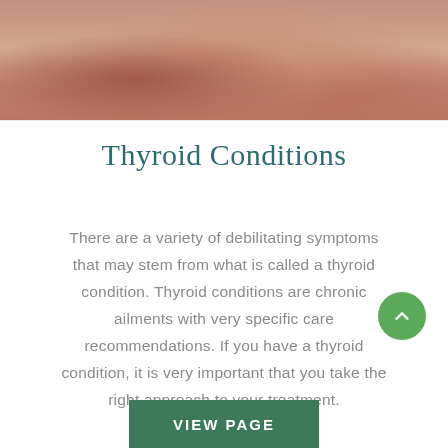[Figure (photo): Close-up photo of a person's neck/throat area, skin tones in warm peach and brown, suggesting a medical illustration related to thyroid area]
Thyroid Conditions
There are a variety of debilitating symptoms that may stem from what is called a thyroid condition. Thyroid conditions are chronic ailments with very specific care recommendations. If you have a thyroid condition, it is very important that you take the right approach to your treatment.